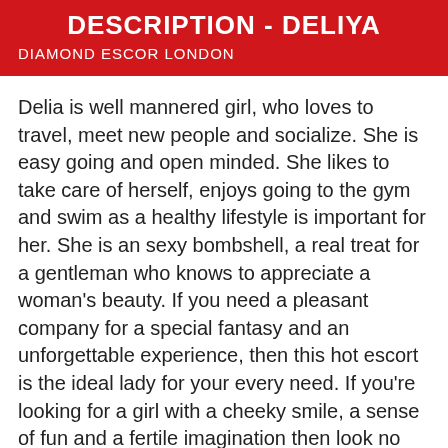DESCRIPTION - DELIYA
DIAMOND ESCOR LONDON
Delia is well mannered girl, who loves to travel, meet new people and socialize. She is easy going and open minded. She likes to take care of herself, enjoys going to the gym and swim as a healthy lifestyle is important for her. She is an sexy bombshell, a real treat for a gentleman who knows to appreciate a woman's beauty. If you need a pleasant company for a special fantasy and an unforgettable experience, then this hot escort is the ideal lady for your every need. If you're looking for a girl with a cheeky smile, a sense of fun and a fertile imagination then look no further. She has a big... more
Delia is well mannered girl, who loves to travel, meet new people and socialize. She is easy going and open minded. She likes to take care of herself, enjoys going to the gym and swim as a healthy lifestyle is important for her. She is an sexy bombshell, a real treat for a gentleman who knows to appreciate a woman's beauty. If you need a pleasant company for a special fantasy and an